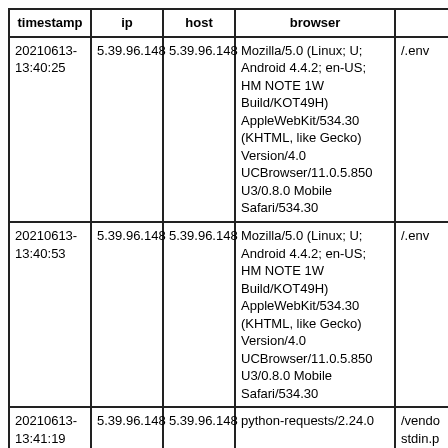| timestamp | ip | host | browser |  |
| --- | --- | --- | --- | --- |
| 20210613-13:40:25 | 5.39.96.148 | 5.39.96.148 | Mozilla/5.0 (Linux; U; Android 4.4.2; en-US; HM NOTE 1W Build/KOT49H) AppleWebKit/534.30 (KHTML, like Gecko) Version/4.0 UCBrowser/11.0.5.850 U3/0.8.0 Mobile Safari/534.30 | /.env |
| 20210613-13:40:53 | 5.39.96.148 | 5.39.96.148 | Mozilla/5.0 (Linux; U; Android 4.4.2; en-US; HM NOTE 1W Build/KOT49H) AppleWebKit/534.30 (KHTML, like Gecko) Version/4.0 UCBrowser/11.0.5.850 U3/0.8.0 Mobile Safari/534.30 | /.env |
| 20210613-13:41:19 | 5.39.96.148 | 5.39.96.148 | python-requests/2.24.0 | /vendo stdin.p |